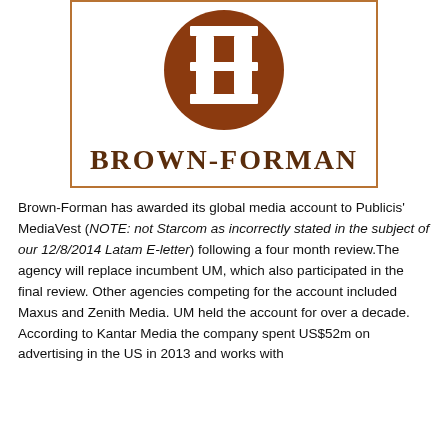[Figure (logo): Brown-Forman logo: a brown circle with a white stylized 'I' column/pillar shape in the center, below which the text 'BROWN-FORMAN' appears in serif bold font. The whole logo is enclosed in a thin brown rectangular border.]
Brown-Forman has awarded its global media account to Publicis' MediaVest (NOTE: not Starcom as incorrectly stated in the subject of our 12/8/2014 Latam E-letter) following a four month review. The agency will replace incumbent UM, which also participated in the final review. Other agencies competing for the account included Maxus and Zenith Media. UM held the account for over a decade. According to Kantar Media the company spent US$52m on advertising in the US in 2013 and works with